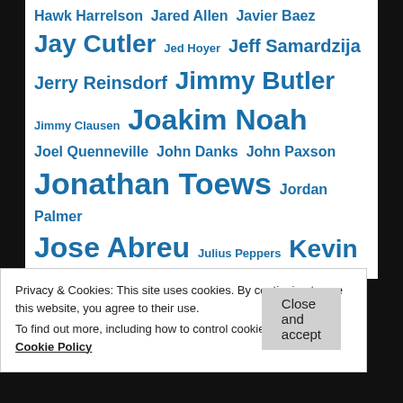Hawk Harrelson Jared Allen Javier Baez Jay Cutler Jed Hoyer Jeff Samardzija Jerry Reinsdorf Jimmy Butler Jimmy Clausen Joakim Noah Joel Quenneville John Danks John Paxson Jonathan Toews Jordan Palmer Jose Abreu Julius Peppers Kevin Love Kirk Hinrich Kris Bryant Lamarr Houston Luol Deng Marc Trestman Marcus Semien Marian Hossa Matt Davidson Matt Forte
Privacy & Cookies: This site uses cookies. By continuing to use this website, you agree to their use.
To find out more, including how to control cookies, see here: Cookie Policy